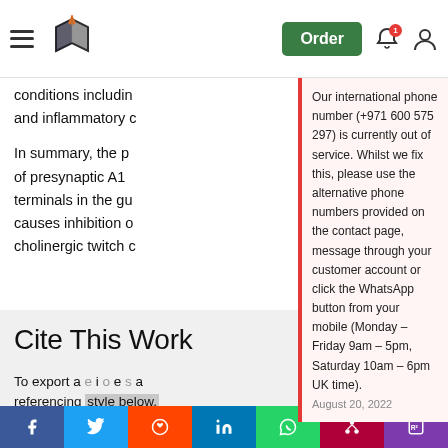[Figure (screenshot): Website header with hamburger menu, book/pen logo, Order button, notification bell, and user icon]
conditions including and inflammatory c
In summary, the p of presynaptic A1 terminals in the gu causes inhibition o cholinergic twitch c
[Figure (infographic): Popup notification: Our international phone number (+971 600 575 297) is currently out of service. Whilst we fix this, please use the alternative phone numbers provided on the contact page, message through your customer account or click the WhatsApp button from your mobile (Monday – Friday 9am – 5pm, Saturday 10am – 6pm UK time). August 20, 2022]
Share this:
Cite This Work
To export a e i o e s a referencing style below.
[Figure (infographic): Social share bar with Facebook, Twitter, Reddit, LinkedIn, WhatsApp, Mendeley, ResearchGate icons]